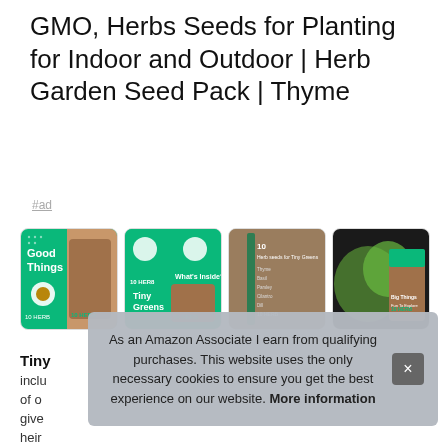GMO, Herbs Seeds for Planting for Indoor and Outdoor | Herb Garden Seed Pack | Thyme
#ad
[Figure (photo): Four product thumbnail images of herb seed packets showing marketing imagery with green packaging, seeds, and greens on dark food photography background.]
Tiny
inclu
of o
give
heir
As an Amazon Associate I earn from qualifying purchases. This website uses the only necessary cookies to ensure you get the best experience on our website. More information